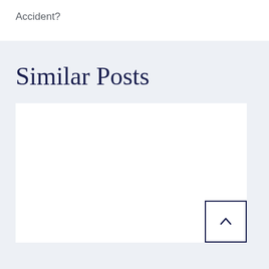Accident?
Similar Posts
[Figure (other): White card placeholder for a similar post]